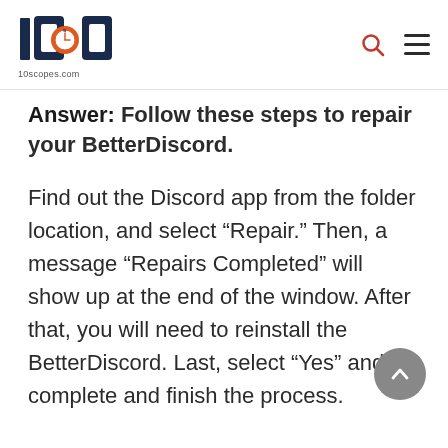10scopes.com
Answer: Follow these steps to repair your BetterDiscord.
Find out the Discord app from the folder location, and select “Repair.” Then, a message “Repairs Completed” will show up at the end of the window. After that, you will need to reinstall the BetterDiscord. Last, select “Yes” and complete and finish the process.